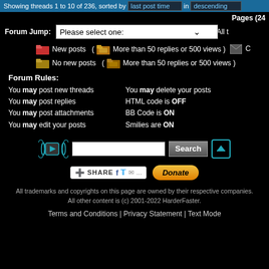Showing threads 1 to 10 of 236, sorted by last post time in descending
Pages (24
Forum Jump: Please select one:   All t
[Figure (infographic): Forum post icons legend: red folder = New posts, hot red folder = More than 50 replies or 500 views, yellow folder = No new posts, hot yellow folder = More than 50 replies or 500 views, email/closed icon]
Forum Rules:
You may post new threads
You may post replies
You may post attachments
You may edit your posts
You may delete your posts
HTML code is OFF
BB Code is ON
Smilies are ON
[Figure (logo): HarderFaster logo with sound wave icon, search input box, Search button, and upload/scroll-up button]
[Figure (infographic): Share button with Facebook, Twitter, email icons, and Donate button]
All trademarks and copyrights on this page are owned by their respective companies. All other content is (c) 2001-2022 HarderFaster.
Terms and Conditions | Privacy Statement | Text Mode